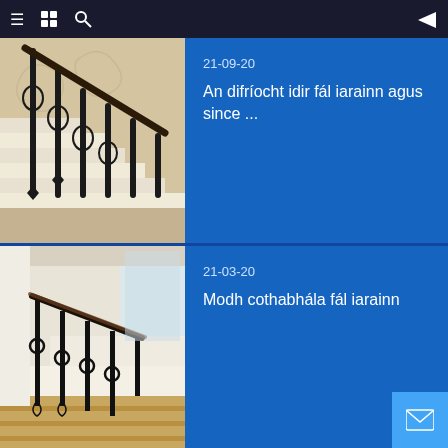Navigation bar with menu, grid, search, and back arrow icons
[Figure (photo): Photo of decorative wrought iron stair railing with scrollwork on white staircase]
21-09-20
An difríocht idir fál iarainn agus since ...
[Figure (photo): Photo of black iron staircase railing in a modern interior with wooden stairs]
21-03-20
Modh cothabhála fál iarainn
[Figure (other): Email/contact button icon in light blue square at bottom right]